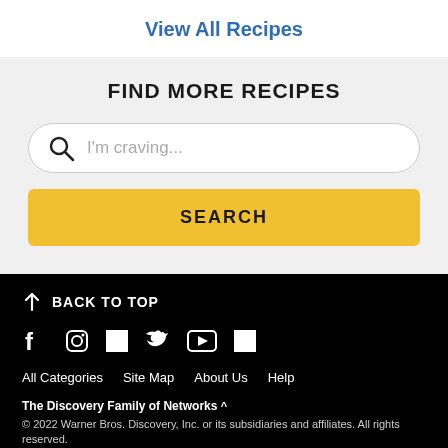View All Recipes
FIND MORE RECIPES
I'm craving...
SEARCH
BACK TO TOP
All Categories   Site Map   About Us   Help
The Discovery Family of Networks ^
© 2022 Warner Bros. Discovery, Inc. or its subsidiaries and affiliates. All rights reserved.